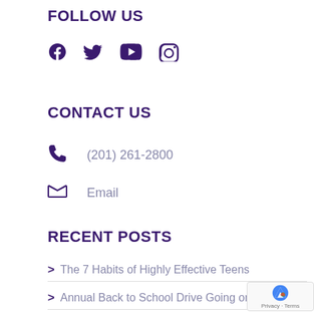FOLLOW US
[Figure (infographic): Social media icons: Facebook, Twitter, YouTube, Instagram in dark purple]
CONTACT US
(201) 261-2800
Email
RECENT POSTS
> The 7 Habits of Highly Effective Teens
> Annual Back to School Drive Going on Now